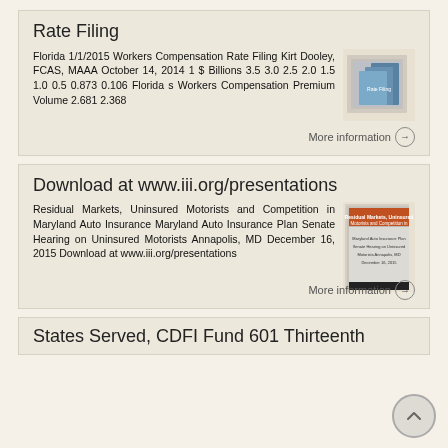Rate Filing
Florida 1/1/2015 Workers Compensation Rate Filing Kirt Dooley, FCAS, MAAA October 14, 2014 1 $ Billions 3.5 3.0 2.5 2.0 1.5 1.0 0.5 0.873 0.106 Florida s Workers Compensation Premium Volume 2.681 2.368
More information →
Download at www.iii.org/presentations
Residual Markets, Uninsured Motorists and Competition in Maryland Auto Insurance Maryland Auto Insurance Plan Senate Hearing on Uninsured Motorists Annapolis, MD December 16, 2015 Download at www.iii.org/presentations
More information →
States Served, CDFI Fund 601 Thirteenth